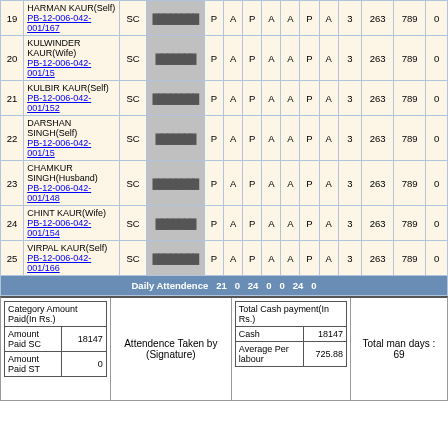| # | Name | Category | Attendance Pattern | P | A | P | A | A | P | A | Days | Rate | Amount | Deduction |
| --- | --- | --- | --- | --- | --- | --- | --- | --- | --- | --- | --- | --- | --- | --- |
| 19 | HARMAN KAUR(Self) PB-12-006-042-001/167 | SC | [hindi] | P | A | P | A | A | P | A | 3 | 263 | 789 | 0 |
| 20 | KULWINDER KAUR(Wife) PB-12-006-042-001/15 | SC | [hindi] | P | A | P | A | A | P | A | 3 | 263 | 789 | 0 |
| 21 | KULBIR KAUR(Self) PB-12-006-042-001/152 | SC | [hindi] | P | A | P | A | A | P | A | 3 | 263 | 789 | 0 |
| 22 | DARSHAN SINGH(Self) PB-12-006-042-001/15 | SC | [hindi] | P | A | P | A | A | P | A | 3 | 263 | 789 | 0 |
| 23 | CHAMKUR SINGH(Husband) PB-12-006-042-001/148 | SC | [hindi] | P | A | P | A | A | P | A | 3 | 263 | 789 | 0 |
| 24 | CHINT KAUR(Wife) PB-12-006-042-001/154 | SC | [hindi] | P | A | P | A | A | P | A | 3 | 263 | 789 | 0 |
| 25 | VIRPAL KAUR(Self) PB-12-006-042-001/166 | SC | [hindi] | P | A | P | A | A | P | A | 3 | 263 | 789 | 0 |
Daily Attendence  21  0  24  0  0  24  0
| Category Amount Paid(In Rs.) |
| --- |
| Amount Paid SC | 18147 |
| Amount Paid ST | 0 |
Attendence Taken by (Signature)
| Total Cash payment(In Rs.) |
| --- |
| Cash | 18147 |
| Average Per labour | 725.88 |
Total man days : 69